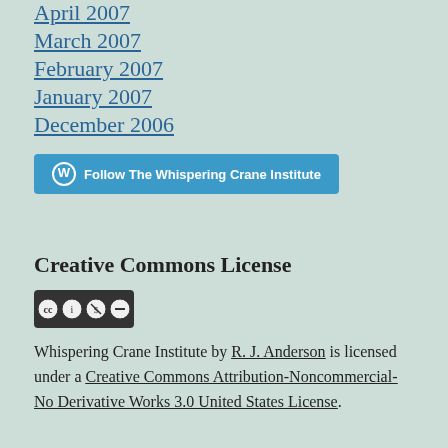April 2007
March 2007
February 2007
January 2007
December 2006
[Figure (other): Follow The Whispering Crane Institute button with WordPress logo]
Creative Commons License
[Figure (other): Creative Commons BY NC ND license badge]
Whispering Crane Institute by R. J. Anderson is licensed under a Creative Commons Attribution-Noncommercial-No Derivative Works 3.0 United States License.